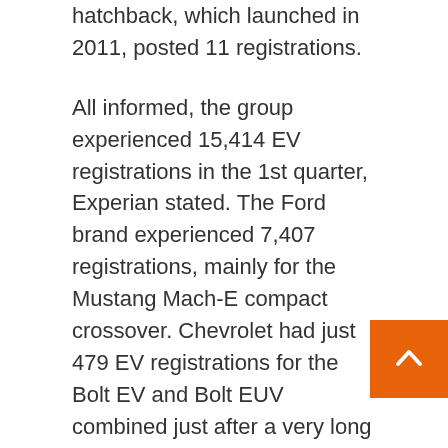hatchback, which launched in 2011, posted 11 registrations.
All informed, the group experienced 15,414 EV registrations in the 1st quarter, Experian stated. The Ford brand experienced 7,407 registrations, mainly for the Mustang Mach-E compact crossover. Chevrolet had just 479 EV registrations for the Bolt EV and Bolt EUV combined just after a very long manufacturing facility shutdown, but GM had 80 for the new GMC Hummer EV pickup.
All world wide automakers, such as Tesla, have explained their creation is constrained by pieces shortages, specially semiconductors.
Registrations of Volkswagen's ID4 compact cross… were being 2,926 in the January-March interval, and Nissan had 4,401 for its Leaf compact hatchback